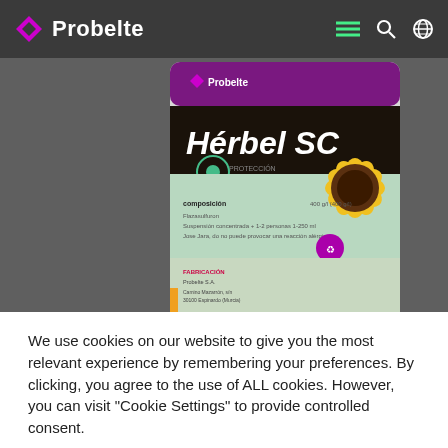Probelte
[Figure (photo): Probelte Hérbel SC herbicide product bottle with purple top label, dark band, mint green lower section, and sunflower graphic on the right side. The product label shows 'Hérbel SC' in large white text and 'PROTECCIÓN DE LA PLANTA' text.]
We use cookies on our website to give you the most relevant experience by remembering your preferences. By clicking, you agree to the use of ALL cookies. However, you can visit "Cookie Settings" to provide controlled consent.